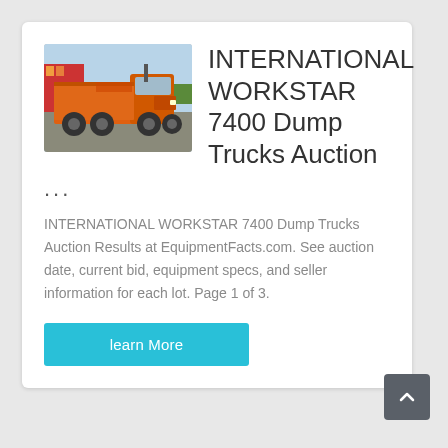[Figure (photo): Orange INTERNATIONAL WORKSTAR 7400 dump truck parked outdoors with trees and red building in background]
INTERNATIONAL WORKSTAR 7400 Dump Trucks Auction
...
INTERNATIONAL WORKSTAR 7400 Dump Trucks Auction Results at EquipmentFacts.com. See auction date, current bid, equipment specs, and seller information for each lot. Page 1 of 3.
learn More